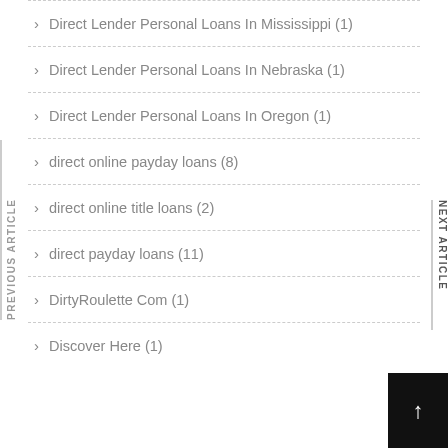Direct Lender Personal Loans In Mississippi (1)
Direct Lender Personal Loans In Nebraska (1)
Direct Lender Personal Loans In Oregon (1)
direct online payday loans (8)
direct online title loans (2)
direct payday loans (11)
DirtyRoulette Com (1)
Discover Here (1)